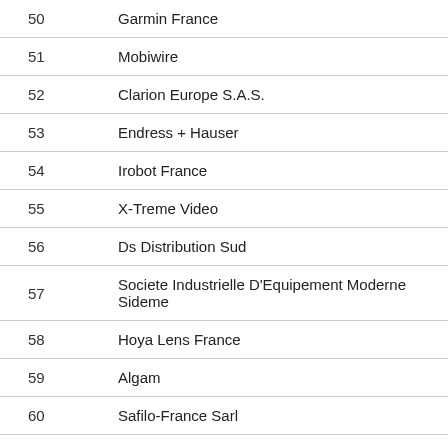| # | Name |
| --- | --- |
| 50 | Garmin France |
| 51 | Mobiwire |
| 52 | Clarion Europe S.A.S. |
| 53 | Endress + Hauser |
| 54 | Irobot France |
| 55 | X-Treme Video |
| 56 | Ds Distribution Sud |
| 57 | Societe Industrielle D'Equipement Moderne Sideme |
| 58 | Hoya Lens France |
| 59 | Algam |
| 60 | Safilo-France Sarl |